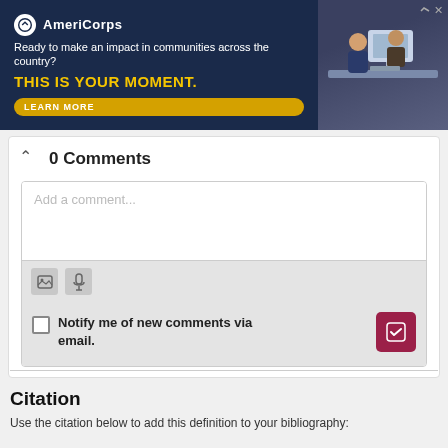[Figure (screenshot): AmeriCorps advertisement banner with dark navy background, logo, tagline 'Ready to make an impact in communities across the country?', headline 'THIS IS YOUR MOMENT.', LEARN MORE button, and image of people at computers on the right side.]
0 Comments
Add a comment...
Notify me of new comments via email.
Citation
Use the citation below to add this definition to your bibliography: